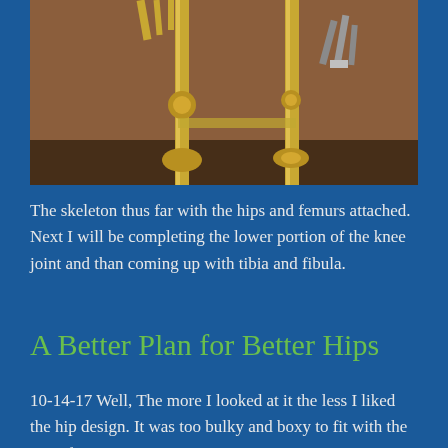[Figure (photo): A metal skeleton sculpture showing gold/brass vertical rods with mechanical joints and claw-like hands, mounted against a brown wooden background. The hips and femur sections are visible.]
The skeleton thus far with the hips and femurs attached. Next I will be completing the lower portion of the knee joint and than coming up with tibia and fibula.
A Better Plan for Better Hips
10-14-17 Well, The more I looked at it the less I liked the hip design. It was too bulky and boxy to fit with the rest of